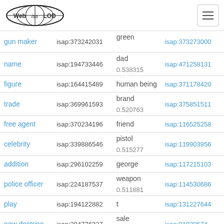Web isa LOD [navigation logo and hamburger menu]
| term | isap id | related term / score | isap id 2 |
| --- | --- | --- | --- |
| gun maker | isap:373242031 | green / (partial) | isap:373273000 |
| name | isap:194733446 | dad / 0.538315 | isap:471258131 |
| figure | isap:164415489 | human being | isap:371178420 |
| trade | isap:369961593 | brand / 0.520763 | isap:375851511 |
| free agent | isap:370234196 | friend | isap:116525258 |
| celebrity | isap:339886546 | pistol / 0.515277 | isap:119903956 |
| addition | isap:296102259 | george | isap:117215103 |
| police officer | isap:224187537 | weapon / 0.511881 | isap:114530686 |
| play | isap:194122882 | t | isap:131227644 |
| new doctrine | isap:294776327 | sale / 0.504582 | isap:91939574 |
| pro | isap:323613481 | brother | isap:35440289 |